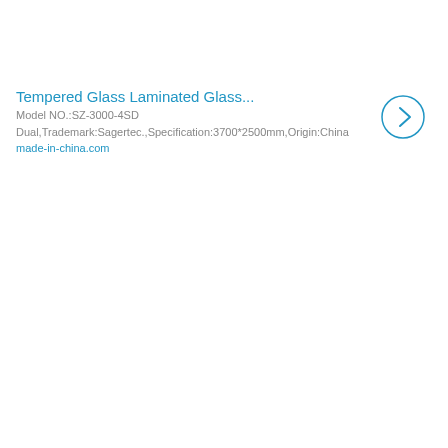Tempered Glass Laminated Glass...
Model NO.:SZ-3000-4SD
Dual,Trademark:Sagertec.,Specification:3700*2500mm,Origin:China made-in-china.com
[Figure (illustration): A circular arrow button (chevron right inside a circle outline) in blue]